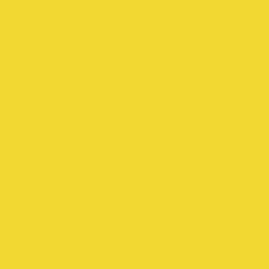[Figure (other): Solid yellow background filling the entire page, color approximately #F2D832 (a bright golden yellow).]